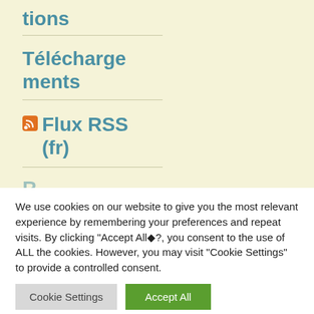tions
Téléchargements
Flux RSS (fr)
We use cookies on our website to give you the most relevant experience by remembering your preferences and repeat visits. By clicking "Accept All◆?, you consent to the use of ALL the cookies. However, you may visit "Cookie Settings" to provide a controlled consent.
Cookie Settings   Accept All